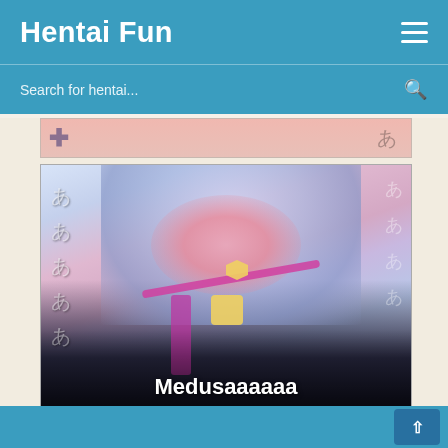Hentai Fun
Search for hentai...
[Figure (illustration): Partial anime illustration visible at top, cropped]
[Figure (illustration): Anime illustration showing a character with blue/silver hair, wearing a black outfit with heart-shaped accessories, with Japanese text overlay and title 'Medusaaaaaa' at bottom]